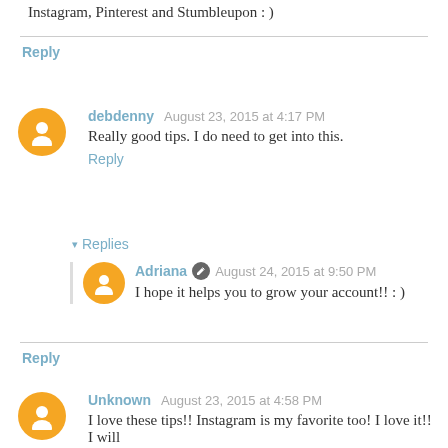Instagram, Pinterest and Stumbleupon : )
Reply
debdenny  August 23, 2015 at 4:17 PM
Really good tips. I do need to get into this.
Reply
Replies
Adriana  August 24, 2015 at 9:50 PM
I hope it helps you to grow your account!! : )
Reply
Unknown  August 23, 2015 at 4:58 PM
I love these tips!! Instagram is my favorite too! I love it!! I will